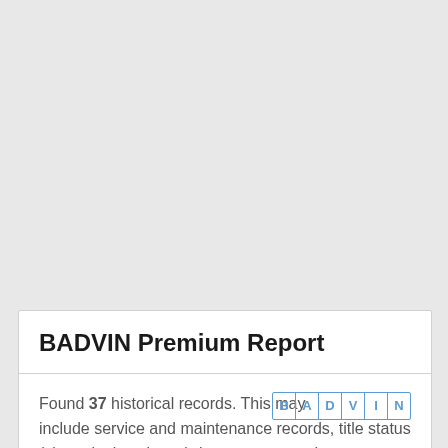BADVIN Premium Report
Found 37 historical records. This may include service and maintenance records, title status (clean, junk, salvage), insurance records, registration